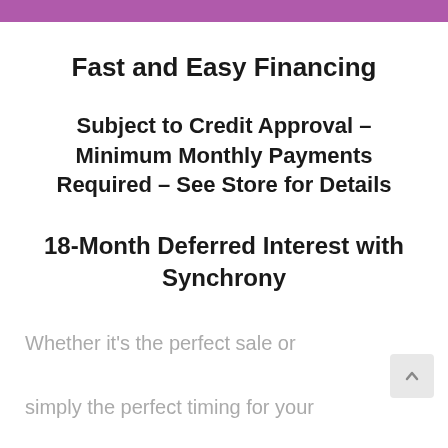Fast and Easy Financing
Subject to Credit Approval – Minimum Monthly Payments Required – See Store for Details
18-Month Deferred Interest with Synchrony
Whether it's the perfect sale or simply the perfect timing for your